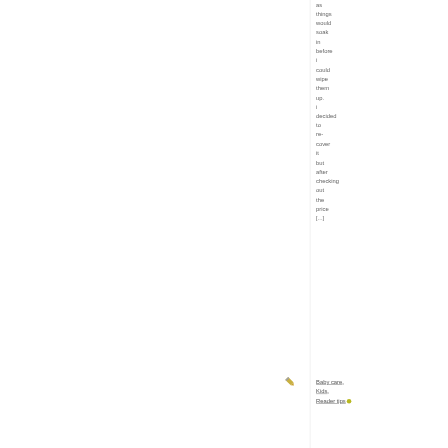as things would soak in before i could wipe them up. i decided to re-cover it but after checking out the price [...]
[Figure (illustration): Small pencil icon]
Baby care, Kids, Reader tips